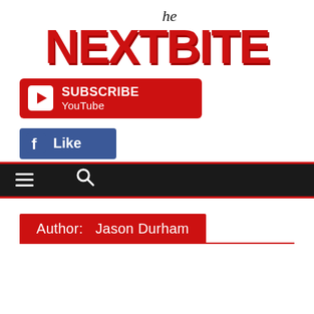[Figure (logo): The NextBite logo with red bold text NEXTBITE and italic 'the' above]
[Figure (infographic): Red YouTube Subscribe button with play icon]
[Figure (infographic): Facebook Like button in blue with Facebook icon]
[Figure (infographic): Dark navigation bar with hamburger menu icon and search icon]
Author:  Jason Durham